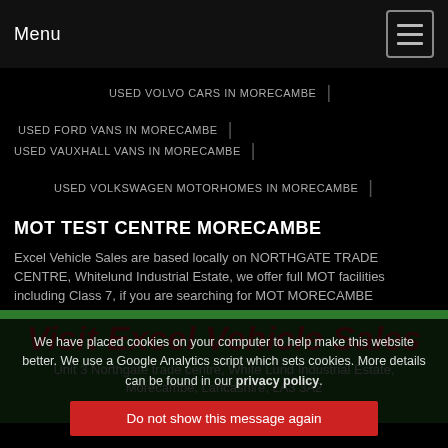Menu
USED VOLVO CARS IN MORECAMBE
USED FORD VANS IN MORECAMBE
USED VAUXHALL VANS IN MORECAMBE
USED VOLKSWAGEN MOTORHOMES IN MORECAMBE
MOT TEST CENTRE MORECAMBE
Excel Vehicle Sales are based locally on NORTHGATE TRADE CENTRE, Whitelund Industrial Estate, we offer full MOT facilities including Class 7, if you are searching for MOT MORECAMBE
Visit Excel Vehicle Sales
Unit 3 Northgate trade centre, White Lund Industrial Estate, Morecambe, Lancashire, LA3 3A2
T: 01524 388844
We have placed cookies on your computer to help make this website better. We use a Google Analytics script which sets cookies. More details can be found in our privacy policy.
Do not show this message again